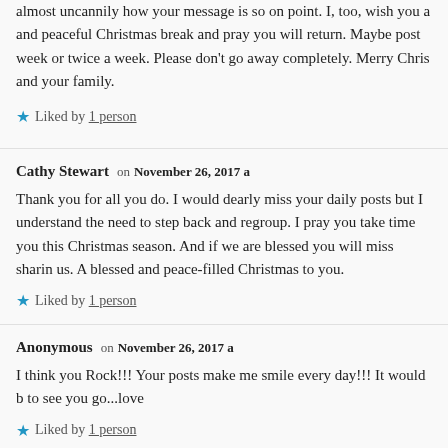almost uncannily how your message is so on point. I, too, wish you a and peaceful Christmas break and pray you will return. Maybe post week or twice a week. Please don't go away completely. Merry Chris and your family.
★ Liked by 1 person
Cathy Stewart on November 26, 2017 a
Thank you for all you do. I would dearly miss your daily posts but I understand the need to step back and regroup. I pray you take time you this Christmas season. And if we are blessed you will miss sharin us. A blessed and peace-filled Christmas to you.
★ Liked by 1 person
Anonymous on November 26, 2017 a
I think you Rock!!! Your posts make me smile every day!!! It would b to see you go...love
★ Liked by 1 person
Anonymous on November 26, 2017